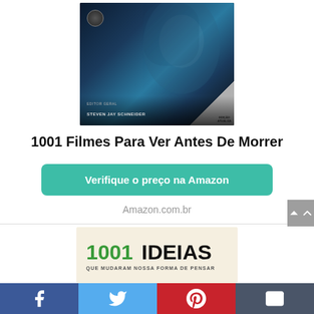[Figure (photo): Book cover of '1001 Filmes Para Ver Antes De Morrer' featuring a dark image of the Joker character, edited by Steven Jay Schneider]
1001 Filmes Para Ver Antes De Morrer
Verifique o preço na Amazon
Amazon.com.br
[Figure (other): Advertisement banner for '1001 Ideias Que Mudaram Nossa Forma De Pensar' book on a cream/beige background with green and black text]
[Figure (other): Social media share bar with Facebook, Twitter, Pinterest, and email icons]